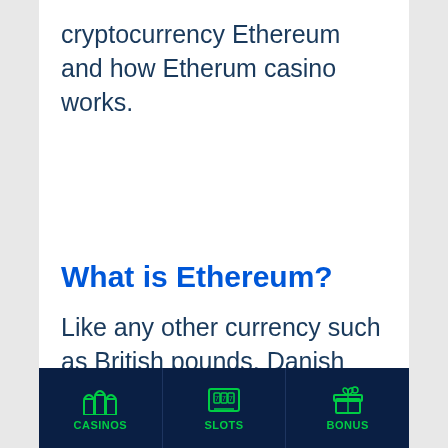cryptocurrency Ethereum and how Etherum casino works.
What is Ethereum?
Like any other currency such as British pounds, Danish kroner, Euros
[Figure (infographic): Bottom navigation bar with dark blue background showing three icon+label items: CASINOS (casino arches icon), SLOTS (slot machine icon), BONUS (gift/bonus icon), all in green, separated by vertical dividers]